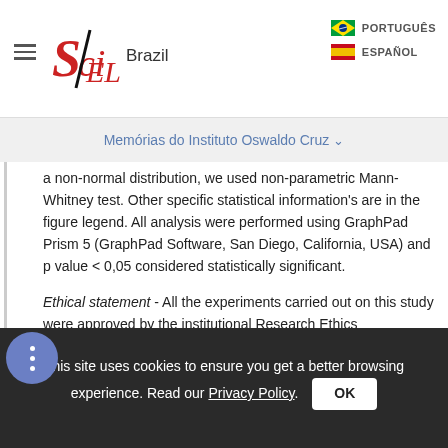SciELO Brazil | Memórias do Instituto Oswaldo Cruz
a non-normal distribution, we used non-parametric Mann-Whitney test. Other specific statistical information's are in the figure legend. All analysis were performed using GraphPad Prism 5 (GraphPad Software, San Diego, California, USA) and p value < 0,05 considered statistically significant.
Ethical statement - All the experiments carried out on this study were approved by the institutional Research Ethics Committees IOC/FIOCRUZ #LW34/14 (for feeding on mice) and CEUA-UFRJ
This site uses cookies to ensure you get a better browsing experience. Read our Privacy Policy. OK